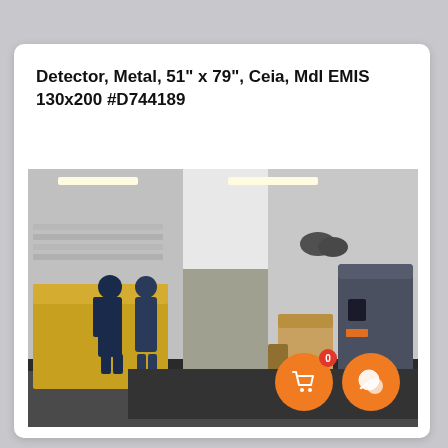Detector, Metal, 51" x 79", Ceia, Mdl EMIS 130x200 #D744189
[Figure (photo): Interior of an industrial/warehouse facility showing a large metal detector frame (walk-through type), workers in blue coveralls, cardboard boxes, and industrial equipment. Two orange circular icon buttons appear in the lower right: a shopping cart with a red badge showing '0', and a chat bubble icon.]